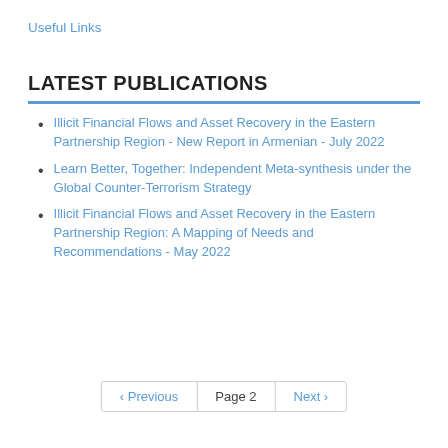Useful Links
LATEST PUBLICATIONS
Illicit Financial Flows and Asset Recovery in the Eastern Partnership Region - New Report in Armenian - July 2022
Learn Better, Together: Independent Meta-synthesis under the Global Counter-Terrorism Strategy
Illicit Financial Flows and Asset Recovery in the Eastern Partnership Region: A Mapping of Needs and Recommendations - May 2022
‹ Previous   Page 2   Next ›